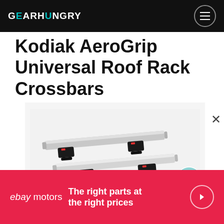GEARHUNGRY
Kodiak AeroGrip Universal Roof Rack Crossbars
[Figure (photo): Two silver aluminum roof rack crossbars with black mounting clamps (Kodiak AeroGrip Universal Roof Rack Crossbars) on a light grey/white background.]
[Figure (infographic): eBay Motors advertisement banner: red background, white text reading 'ebay motors — The right parts at the right prices' with a circular arrow button.]